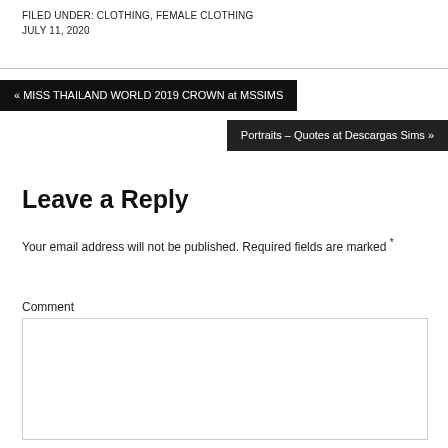FILED UNDER: CLOTHING, FEMALE CLOTHING
JULY 11, 2020
« MISS THAILAND WORLD 2019 CROWN at MSSIMS
Portraits – Quotes at Descargas Sims »
Leave a Reply
Your email address will not be published. Required fields are marked *
Comment